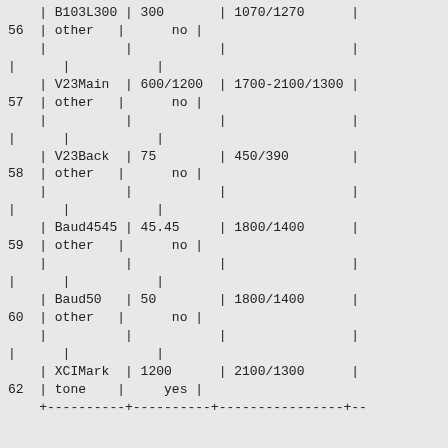| # | name | baud | frequencies | type | answer |
| --- | --- | --- | --- | --- | --- |
|  | B103L300 | 300 |  | 1070/1270 |  |
| 56 | other |  | no |  |  |
|  |  |  |  |  |  |
|  |  |  |  |  |  |
|  | V23Main | 600/1200 |  | 1700-2100/1300 |  |
| 57 | other |  | no |  |  |
|  |  |  |  |  |  |
|  |  |  |  |  |  |
|  | V23Back | 75 |  | 450/390 |  |
| 58 | other |  | no |  |  |
|  |  |  |  |  |  |
|  |  |  |  |  |  |
|  | Baud4545 | 45.45 |  | 1800/1400 |  |
| 59 | other |  | no |  |  |
|  |  |  |  |  |  |
|  |  |  |  |  |  |
|  | Baud50 | 50 |  | 1800/1400 |  |
| 60 | other |  | no |  |  |
|  |  |  |  |  |  |
|  |  |  |  |  |  |
|  | XCIMark | 1200 |  | 2100/1300 |  |
| 62 | tone |  | yes |  |  |
| +----------+----------+----------------+-- |  |  |  |  |  |